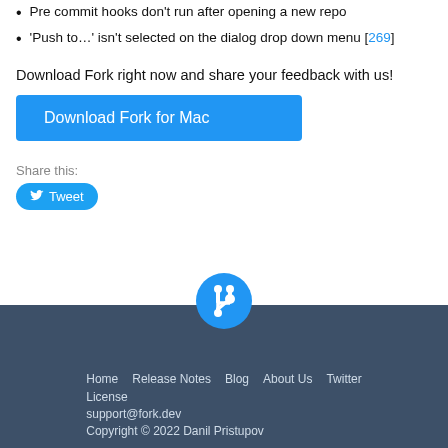Pre commit hooks don't run after opening a new repo
'Push to…' isn't selected on the dialog drop down menu [269]
Download Fork right now and share your feedback with us!
[Figure (other): Blue 'Download Fork for Mac' button]
Share this:
[Figure (other): Blue Twitter Tweet button]
Tags
mac  release-notes  windows
[Figure (logo): Fork app logo - white fork icon on blue circle]
Home  Release Notes  Blog  About Us  Twitter  License  support@fork.dev  Copyright © 2022 Danil Pristupov